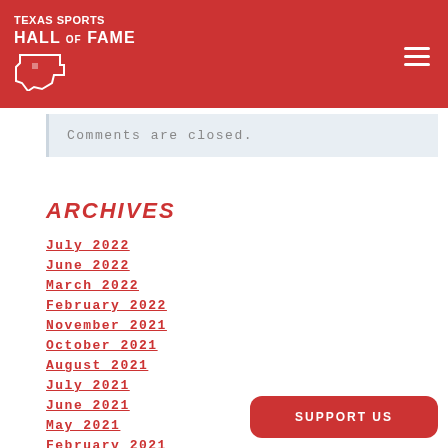Texas Sports Hall of Fame
Comments are closed.
ARCHIVES
July 2022
June 2022
March 2022
February 2022
November 2021
October 2021
August 2021
July 2021
June 2021
May 2021
February 2021
January 2021
SUPPORT US